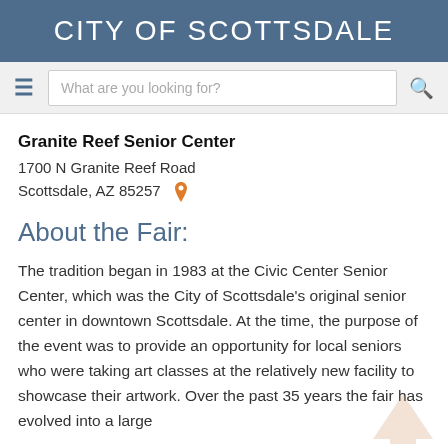CITY OF SCOTTSDALE
[Figure (screenshot): Navigation bar with hamburger menu, search box reading 'What are you looking for?', and search icon]
Granite Reef Senior Center
1700 N Granite Reef Road
Scottsdale, AZ 85257
About the Fair:
The tradition began in 1983 at the Civic Center Senior Center, which was the City of Scottsdale's original senior center in downtown Scottsdale. At the time, the purpose of the event was to provide an opportunity for local seniors who were taking art classes at the relatively new facility to showcase their artwork. Over the past 35 years the fair has evolved into a large